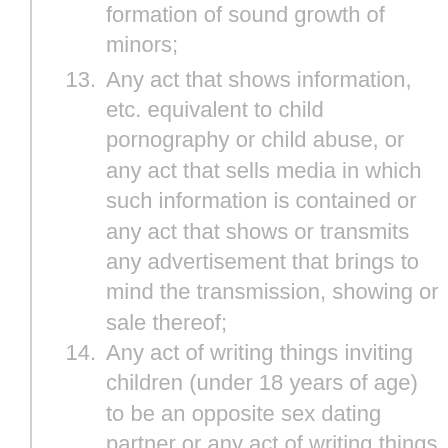formation of sound growth of minors;
13. Any act that shows information, etc. equivalent to child pornography or child abuse, or any act that sells media in which such information is contained or any act that shows or transmits any advertisement that brings to mind the transmission, showing or sale thereof;
14. Any act of writing things inviting children (under 18 years of age) to be an opposite sex dating partner or any act of writing things inviting adults to be an opposite sex dating partner of children;
15. Any act...